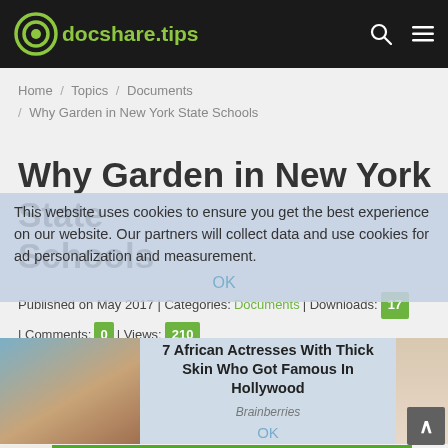docshare.tips
Home / Topics / Documents / Why Garden in New York State Schools
Why Garden in New York State Schools
This website uses cookies to ensure you get the best experience on our website. Our partners will collect data and use cookies for ad personalization and measurement.
Published on May 2017 | Categories: Documents | Downloads: 17 | Comments: 0 | Views: 210
[Figure (photo): Advertisement: 7 African Actresses With Thick Skin Who Got Famous In Hollywood - Brainberries]
Why Garden in